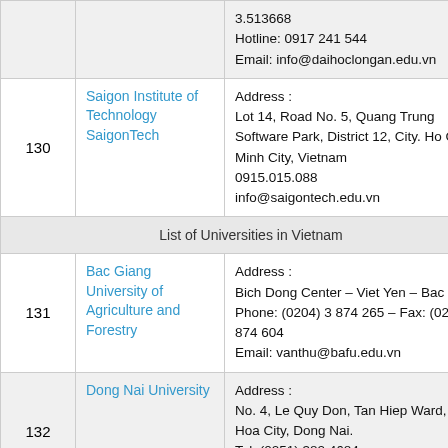| # | Name | Contact |
| --- | --- | --- |
|  |  | 3.513668
Hotline: 0917 241 544
Email: info@daihoclongan.edu.vn |
| 130 | Saigon Institute of Technology SaigonTech | Address :
Lot 14, Road No. 5, Quang Trung Software Park, District 12, City. Ho Chi Minh City, Vietnam
0915.015.088
info@saigontech.edu.vn |
|  |  | List of Universities in Vietnam |
| 131 | Bac Giang University of Agriculture and Forestry | Address :
Bich Dong Center – Viet Yen – Bac Giang
Phone: (0204) 3 874 265 – Fax: (0204) 874 604
Email: vanthu@bafu.edu.vn |
| 132 | Dong Nai University | Address :
No. 4, Le Quy Don, Tan Hiep Ward, Bien Hoa City, Dong Nai.
Tel: (0251) 382 4684
Email: lienhe@dnpu.edu.vn |
| 133 | Bac Lieu... | Address :
02913822653 |